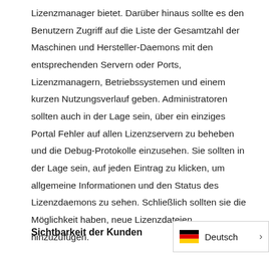Lizenzmanager bietet. Darüber hinaus sollte es den Benutzern Zugriff auf die Liste der Gesamtzahl der Maschinen und Hersteller-Daemons mit den entsprechenden Servern oder Ports, Lizenzmanagern, Betriebssystemen und einem kurzen Nutzungsverlauf geben. Administratoren sollten auch in der Lage sein, über ein einziges Portal Fehler auf allen Lizenzservern zu beheben und die Debug-Protokolle einzusehen. Sie sollten in der Lage sein, auf jeden Eintrag zu klicken, um allgemeine Informationen und den Status des Lizenzdaemons zu sehen. Schließlich sollten sie die Möglichkeit haben, neue Lizenzdateien hinzuzufügen.
Sichtbarkeit der Kunden
[Figure (other): Language selector widget showing German flag and 'Deutsch' text with a right-arrow chevron, inside a bordered box]